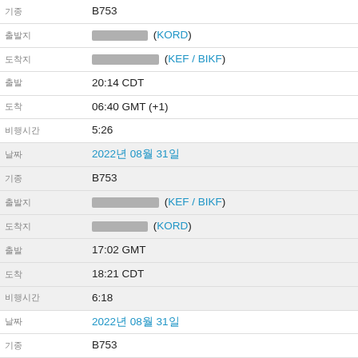| label | value |
| --- | --- |
| 기종 | B753 |
| 출발지 | [redacted] (KORD) |
| 도착지 | [redacted] (KEF / BIKF) |
| 출발 | 20:14 CDT |
| 도착 | 06:40 GMT (+1) |
| 비행시간 | 5:26 |
| 날짜 | 2022년 08월 31일 |
| 기종 | B753 |
| 출발지 | [redacted] (KEF / BIKF) |
| 도착지 | [redacted] (KORD) |
| 출발 | 17:02 GMT |
| 도착 | 18:21 CDT |
| 비행시간 | 6:18 |
| 날짜 | 2022년 08월 31일 |
| 기종 | B753 |
| 출발지 | [redacted] (DUB / EIDW) |
| 도착지 | [redacted] (KEF / BIKF) |
| 출발 | 13:36 IST |
| 도착 | 14:39 GMT |
| 비행시간 | 2:02 |